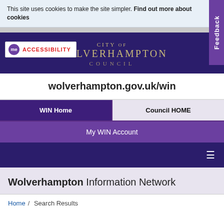This site uses cookies to make the site simpler. Find out more about cookies
[Figure (screenshot): Feedback tab on right side, purple background with white text rotated vertically]
[Figure (logo): City of Wolverhampton Council logo with accessibility badge showing 'me' bubble and ACCESSIBILITY text]
wolverhampton.gov.uk/win
WIN Home
Council HOME
My WIN Account
Wolverhampton Information Network
Home / Search Results